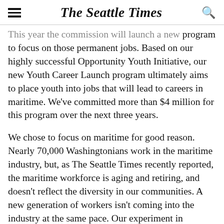The Seattle Times
This year the commission will launch a new program to focus on those permanent jobs. Based on our highly successful Opportunity Youth Initiative, our new Youth Career Launch program ultimately aims to place youth into jobs that will lead to careers in maritime. We've committed more than $4 million for this program over the next three years.
We chose to focus on maritime for good reason. Nearly 70,000 Washingtonians work in the maritime industry, but, as The Seattle Times recently reported, the maritime workforce is aging and retiring, and doesn't reflect the diversity in our communities. A new generation of workers isn't coming into the industry at the same pace. Our experiment in engaging young people early on has